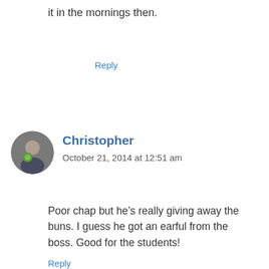it in the mornings then.
Reply
Christopher
October 21, 2014 at 12:51 am
Poor chap but he’s really giving away the buns. I guess he got an earful from the boss. Good for the students!
Reply